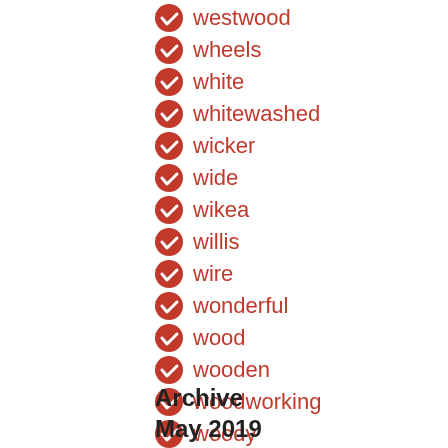westwood
wheels
white
whitewashed
wicker
wide
wikea
willis
wire
wonderful
wood
wooden
woodworking
woody
worcester
work
workshop
Archive
May 2019